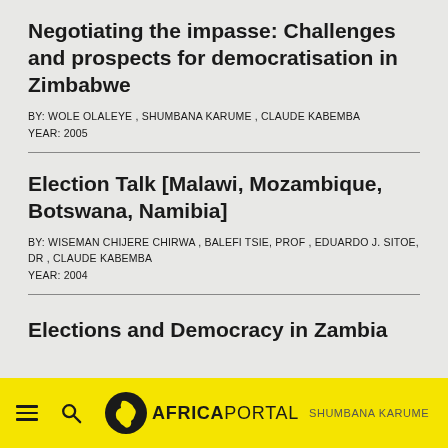Negotiating the impasse: Challenges and prospects for democratisation in Zimbabwe
BY: WOLE OLALEYE , SHUMBANA KARUME , CLAUDE KABEMBA
YEAR: 2005
Election Talk [Malawi, Mozambique, Botswana, Namibia]
BY: WISEMAN CHIJERE CHIRWA , BALEFI TSIE, PROF , EDUARDO J. SITOE, DR , CLAUDE KABEMBA
YEAR: 2004
Elections and Democracy in Zambia
AFRICA PORTAL